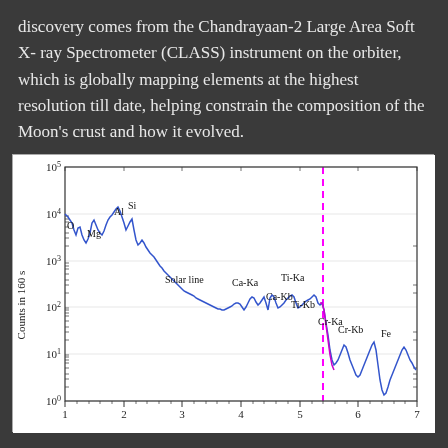discovery comes from the Chandrayaan-2 Large Area Soft X- ray Spectrometer (CLASS) instrument on the orbiter, which is globally mapping elements at the highest resolution till date, helping constrain the composition of the Moon's crust and how it evolved.
[Figure (continuous-plot): X-ray fluorescence spectrum from CLASS instrument showing counts in 160s (y-axis, log scale 10^0 to 10^5) vs energy in keV (x-axis, 1 to 7). Peaks labeled: O, Mg, Al, Si around 1-2 keV; Solar line ~2.5 keV; Ca-Ka ~3.7 keV; Ca-Kb, Ti-Ka ~4.5 keV; Ti-Kb ~5 keV; Cr-Ka, Cr-Kb ~5.5-6 keV; Fe ~6.4 keV. A vertical dashed magenta line at ~5.4 keV.]